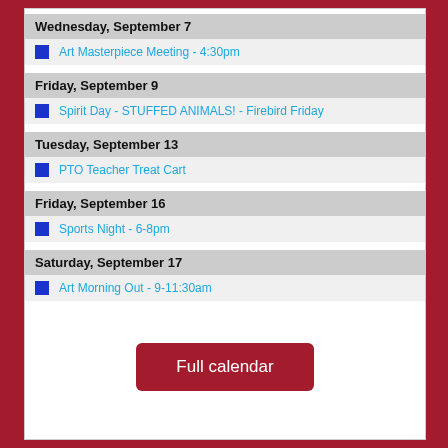Wednesday, September 7
Art Masterpiece Meeting - 4:30pm
Friday, September 9
Spirit Day - STUFFED ANIMALS! - Firebird Friday
Tuesday, September 13
PTO Teacher Treat Cart
Friday, September 16
Sports Night - 6-8pm
Saturday, September 17
Art Morning Out - 9-11:30am
Full calendar